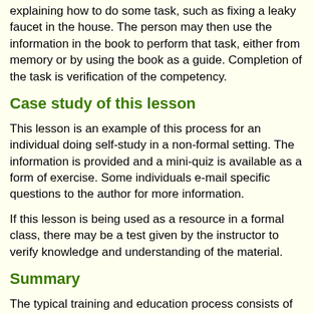explaining how to do some task, such as fixing a leaky faucet in the house. The person may then use the information in the book to perform that task, either from memory or by using the book as a guide. Completion of the task is verification of the competency.
Case study of this lesson
This lesson is an example of this process for an individual doing self-study in a non-formal setting. The information is provided and a mini-quiz is available as a form of exercise. Some individuals e-mail specific questions to the author for more information.
If this lesson is being used as a resource in a formal class, there may be a test given by the instructor to verify knowledge and understanding of the material.
Summary
The typical training and education process consists of providing information, exercises, clarification, and testing. These steps hold for most of the delivery media, with self-study skipping some steps.